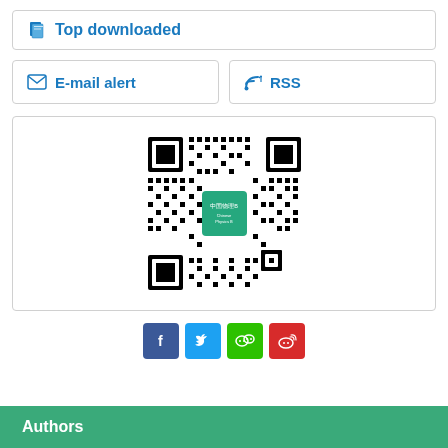Top downloaded
E-mail alert
RSS
[Figure (other): QR code for Chinese Physics B WeChat/journal link]
[Figure (other): Social media share buttons: Facebook, Twitter, WeChat, Weibo]
Authors